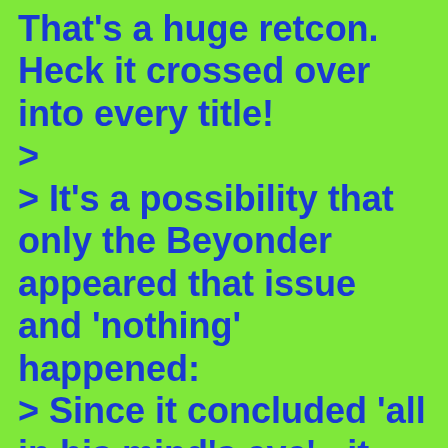That's a huge retcon. Heck it crossed over into every title!
>
> It's a possibility that only the Beyonder appeared that issue and 'nothing' happened:
> Since it concluded 'all in his mind's eye' - it might actually be just that until it is subsequently footnoted to the contrary. It would be a shame to pay for all that story and not maybe have one of the 5 involved too, so